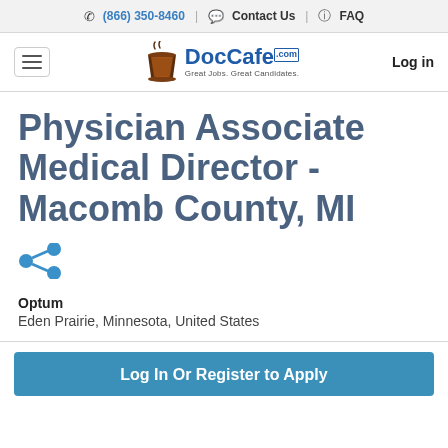✆ (866) 350-8460 | Contact Us | FAQ
[Figure (logo): DocCafe.com logo with coffee cup icon and tagline 'Great Jobs. Great Candidates.']
Physician Associate Medical Director - Macomb County, MI
[Figure (other): Share icon (blue connected circles)]
Optum
Eden Prairie, Minnesota, United States
Log In Or Register to Apply